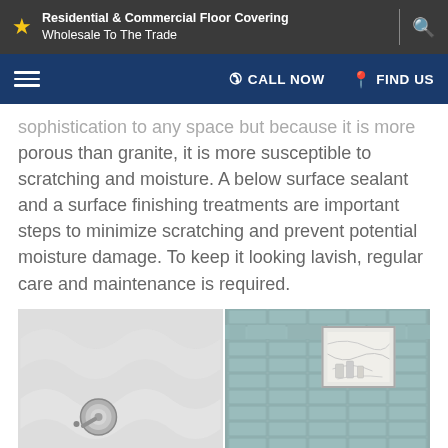Residential & Commercial Floor Covering Wholesale To The Trade
sophistication to any space but because it is more porous than granite, it is more susceptible to scratching and moisture. A below surface sealant and a surface finishing treatments are important steps to minimize scratching and prevent potential moisture damage. To keep it looking lavish, regular care and maintenance is required.
[Figure (photo): Two bathroom tile images side by side: left shows white wavy textured wall tiles with a chrome shower valve; right shows light blue/green glass subway tiles with a marble niche insert.]